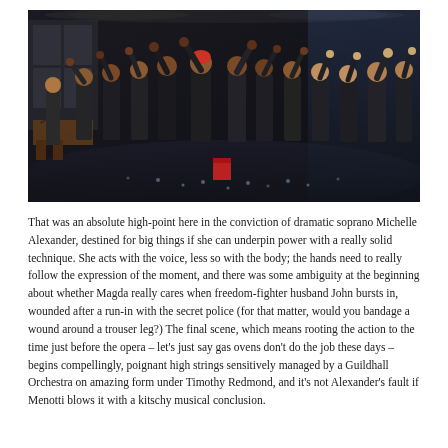[Figure (photo): A theatrical stage performance showing a large ensemble cast of about 15 actors on a dark stage, many with raised fists, wearing dark coats and period costumes. The setting appears to be a dramatic operatic or theatrical production with dramatic lighting.]
That was an absolute high-point here in the conviction of dramatic soprano Michelle Alexander, destined for big things if she can underpin power with a really solid technique. She acts with the voice, less so with the body; the hands need to really follow the expression of the moment, and there was some ambiguity at the beginning about whether Magda really cares when freedom-fighter husband John bursts in, wounded after a run-in with the secret police (for that matter, would you bandage a wound around a trouser leg?) The final scene, which means rooting the action to the time just before the opera – let's just say gas ovens don't do the job these days – begins compellingly, poignant high strings sensitively managed by a Guildhall Orchestra on amazing form under Timothy Redmond, and it's not Alexander's fault if Menotti blows it with a kitschy musical conclusion.